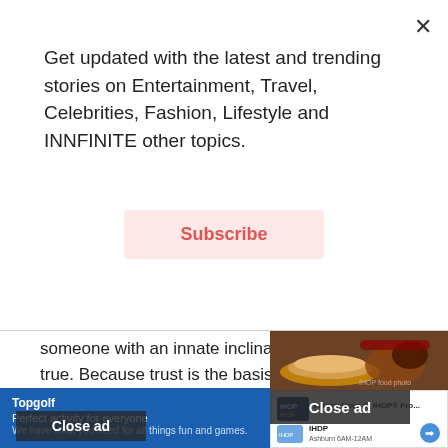Get updated with the latest and trending stories on Entertainment, Travel, Celebrities, Fashion, Lifestyle and INNFINITE other topics.
Subscribe
someone with an innate inclination towards all things true. Because trust is the basis of all relationships, romantic or platonic. And when you are someone who are totally honest with things emotionally and all, it more...ws that you would be reliable as well. At the end o... want someone who would be honest w...
[Figure (screenshot): Close ad button overlay (dark bar with text 'Close ad') over article text, plus food photo of pancakes and fried chicken, IHOP ad, Topgolf map ad]